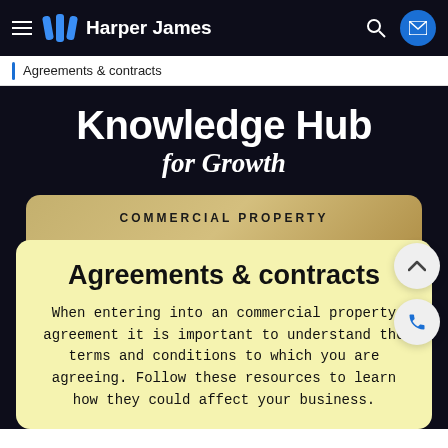Harper James
Agreements & contracts
Knowledge Hub for Growth
COMMERCIAL PROPERTY
Agreements & contracts
When entering into an commercial property agreement it is important to understand the terms and conditions to which you are agreeing. Follow these resources to learn how they could affect your business.